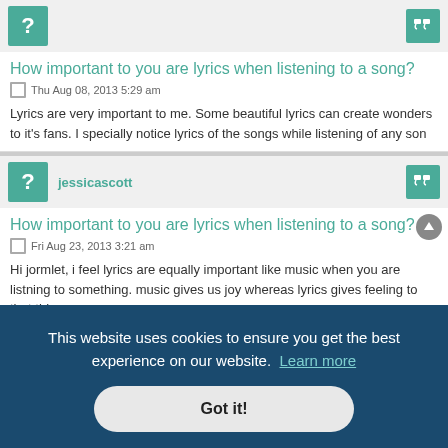How important to you are lyrics when listening to a song?
Thu Aug 08, 2013 5:29 am
Lyrics are very important to me. Some beautiful lyrics can create wonders to it's fans. I specially notice lyrics of the songs while listening of any song
jessicascott
How important to you are lyrics when listening to a song?
Fri Aug 23, 2013 3:21 am
Hi jormlet, i feel lyrics are equally important like music when you are listning to something. music gives us joy whereas lyrics gives feeling to that thing.
This website uses cookies to ensure you get the best experience on our website.  Learn more
Got it!
Especially a lot of lyrics from 1970s songs, since they are easier for me to